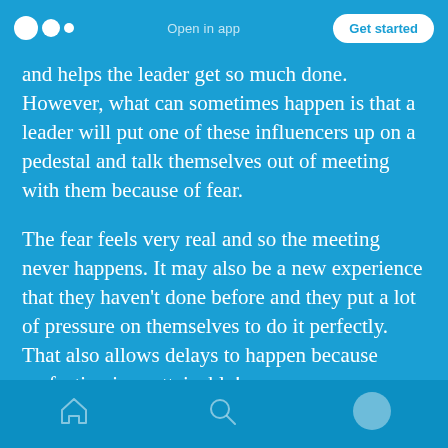Medium logo | Open in app | Get started
and helps the leader get so much done. However, what can sometimes happen is that a leader will put one of these influencers up on a pedestal and talk themselves out of meeting with them because of fear.
The fear feels very real and so the meeting never happens. It may also be a new experience that they haven't done before and they put a lot of pressure on themselves to do it perfectly. That also allows delays to happen because perfection is unattainable!
Home | Search | Profile